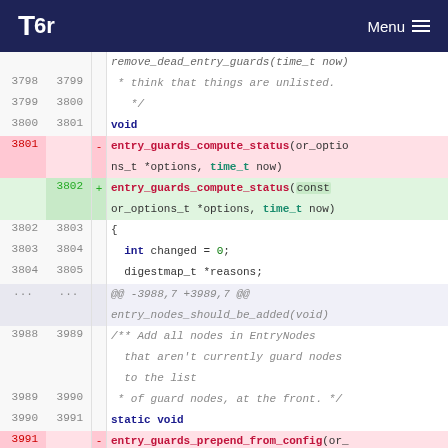Tor | Menu
[Figure (screenshot): Code diff view from the Tor project showing changes to entry_guards_compute_status and entry_guards_prepend_from_config functions, adding 'const' qualifier to or_options_t parameter]
remove_dead_entry_guards(time_t now)
3798 3799 * think that things are unlisted.
3799 3800  */
3800 3801 void
3801  - entry_guards_compute_status(or_options_t *options, time_t now)
3802 + entry_guards_compute_status(const or_options_t *options, time_t now)
3802 3803 {
3803 3804   int changed = 0;
3804 3805   digestmap_t *reasons;
...  ...  @@ -3988,7 +3989,7 @@ entry_nodes_should_be_added(void)
3988 3989 /** Add all nodes in EntryNodes that aren't currently guard nodes to the list
3989 3990  * of guard nodes, at the front. */
3990 3991 static void
3991  - entry_guards_prepend_from_config(or_options_t *options)